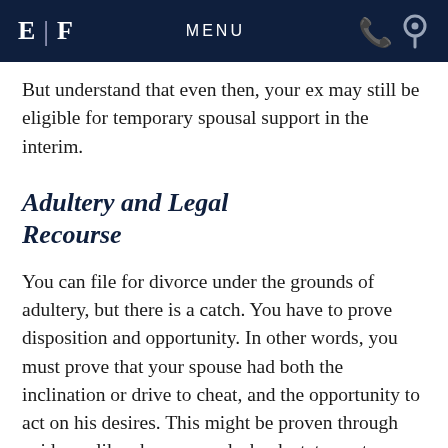E | F   MENU
But understand that even then, your ex may still be eligible for temporary spousal support in the interim.
Adultery and Legal Recourse
You can file for divorce under the grounds of adultery, but there is a catch. You have to prove disposition and opportunity. In other words, you must prove that your spouse had both the inclination or drive to cheat, and the opportunity to act on his desires. This might be proven through evidence like phone records, bank statements showing your